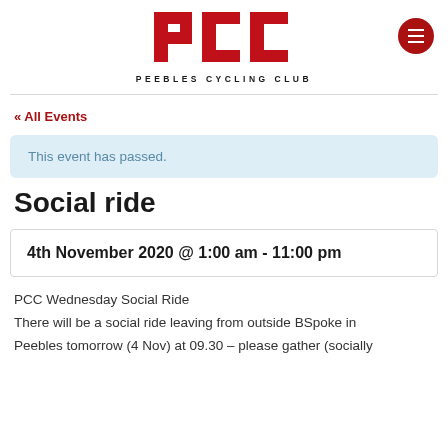[Figure (logo): PCC Peebles Cycling Club logo with large red bold PCC letters and subtitle text PEEBLES CYCLING CLUB]
« All Events
This event has passed.
Social ride
4th November 2020 @ 1:00 am - 11:00 pm
PCC Wednesday Social Ride
There will be a social ride leaving from outside BSpoke in Peebles tomorrow (4 Nov) at 09.30 – please gather (socially